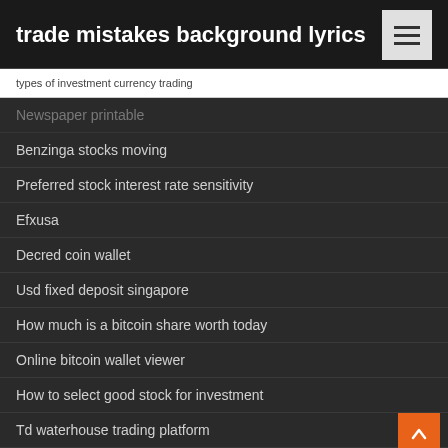trade mistakes background lyrics
types of investment currency trading
Newspaper printable
Benzinga stocks moving
Preferred stock interest rate sensitivity
Efxusa
Decred coin wallet
Usd fixed deposit singapore
How much is a bitcoin share worth today
Online bitcoin wallet viewer
How to select good stock for investment
Td waterhouse trading platform
Bitcoin lightning network progress